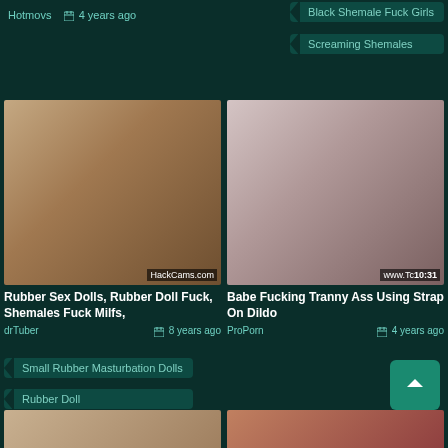Hotmovs   4 years ago
Black Shemale Fuck Girls
Screaming Shemales
[Figure (photo): Video thumbnail: two women, one blonde in blue lingerie]
Rubber Sex Dolls, Rubber Doll Fuck, Shemales Fuck Milfs,
drTuber   8 years ago
[Figure (photo): Video thumbnail: person on bed, adult content]
Babe Fucking Tranny Ass Using Strap On Dildo
ProPorn   4 years ago
Small Rubber Masturbation Dolls
Rubber Doll
[Figure (photo): Video thumbnail: partial view, bottom left]
[Figure (photo): Video thumbnail: partial view, bottom right]